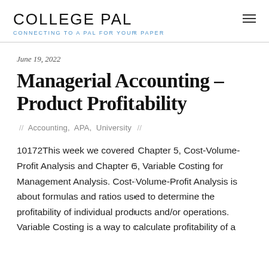COLLEGE PAL — CONNECTING TO A PAL FOR YOUR PAPER
June 19, 2022
Managerial Accounting – Product Profitability
// Accounting, APA, University //
10172This week we covered Chapter 5, Cost-Volume-Profit Analysis and Chapter 6, Variable Costing for Management Analysis. Cost-Volume-Profit Analysis is about formulas and ratios used to determine the profitability of individual products and/or operations. Variable Costing is a way to calculate profitability of a